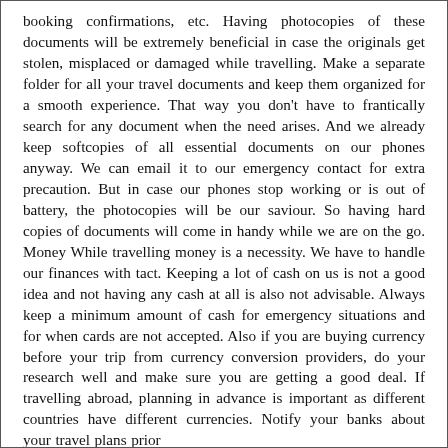booking confirmations, etc. Having photocopies of these documents will be extremely beneficial in case the originals get stolen, misplaced or damaged while travelling. Make a separate folder for all your travel documents and keep them organized for a smooth experience. That way you don't have to frantically search for any document when the need arises. And we already keep softcopies of all essential documents on our phones anyway. We can email it to our emergency contact for extra precaution. But in case our phones stop working or is out of battery, the photocopies will be our saviour. So having hard copies of documents will come in handy while we are on the go. Money While travelling money is a necessity. We have to handle our finances with tact. Keeping a lot of cash on us is not a good idea and not having any cash at all is also not advisable. Always keep a minimum amount of cash for emergency situations and for when cards are not accepted. Also if you are buying currency before your trip from currency conversion providers, do your research well and make sure you are getting a good deal. If travelling abroad, planning in advance is important as different countries have different currencies. Notify your banks about your travel plans prior